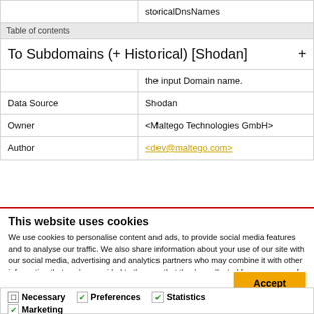|  |  |
| --- | --- |
|  | storicalDnsNames |
| Table of contents |  |
| To Subdomains (+ Historical) [Shodan] | + |
|  | the input Domain name. |
| Data Source | Shodan |
| Owner | <Maltego Technologies GmbH> |
| Author | <dev@maltego.com> |
This website uses cookies
We use cookies to personalise content and ads, to provide social media features and to analyse our traffic. We also share information about your use of our site with our social media, advertising and analytics partners who may combine it with other information that you've provided to them or that they've collected from your use of their services.
Accept
Necessary  Preferences  Statistics  Marketing  Settings